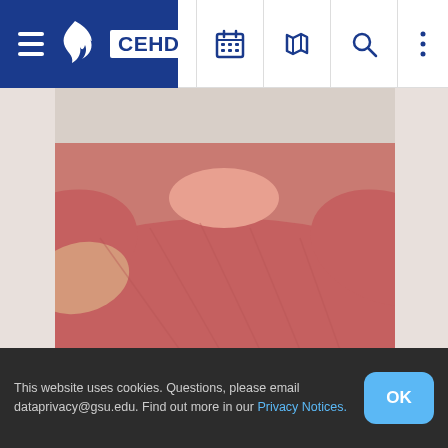CEHD
[Figure (photo): Photo of Brian Berger wearing a red/salmon polo shirt, cropped to show torso and partial arms]
BRIAN BERGER
MANAGER
Omnichannel and Upsell Analytics
Delta
This website uses cookies. Questions, please email dataprivacy@gsu.edu. Find out more in our Privacy Notices.